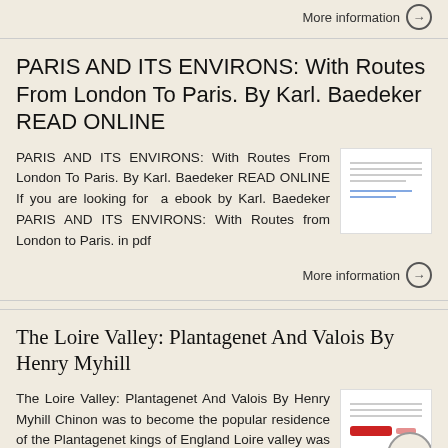More information →
PARIS AND ITS ENVIRONS: With Routes From London To Paris. By Karl. Baedeker READ ONLINE
PARIS AND ITS ENVIRONS: With Routes From London To Paris. By Karl. Baedeker READ ONLINE If you are looking for a ebook by Karl. Baedeker PARIS AND ITS ENVIRONS: With Routes from London to Paris. in pdf
[Figure (screenshot): Thumbnail image of the Paris and Its Environs book page with text lines]
More information →
The Loire Valley: Plantagenet And Valois By Henry Myhill
The Loire Valley: Plantagenet And Valois By Henry Myhill Chinon was to become the popular residence of the Plantagenet kings of England Loire valley was actually a larger
[Figure (screenshot): Thumbnail image of The Loire Valley book page with red button]